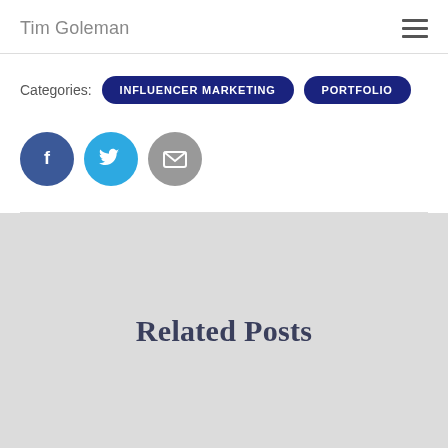Tim Goleman
Categories: INFLUENCER MARKETING   PORTFOLIO
[Figure (other): Social share icons: Facebook (dark blue circle with 'f'), Twitter (light blue circle with bird), Email (gray circle with envelope)]
Related Posts